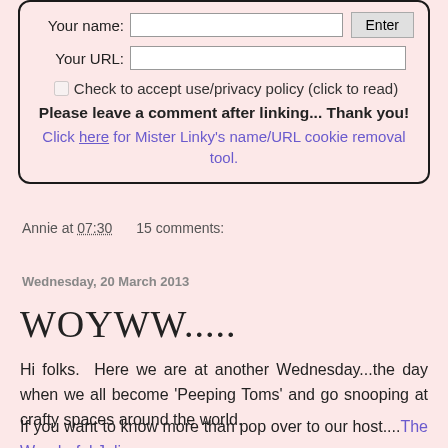[Figure (screenshot): A web form box with fields for 'Your name' and 'Your URL', an Enter button, a privacy policy checkbox, a bold notice to leave a comment, and a link to Mister Linky's cookie removal tool. The box has a pink background and rounded dark border.]
Annie at 07:30    15 comments:
Wednesday, 20 March 2013
WOYWW.....
Hi folks.  Here we are at another Wednesday...the day when we all become 'Peeping Toms' and go snooping at crafty spaces around the world.
If you want to know more than pop over to our host....The Wonderful Julia